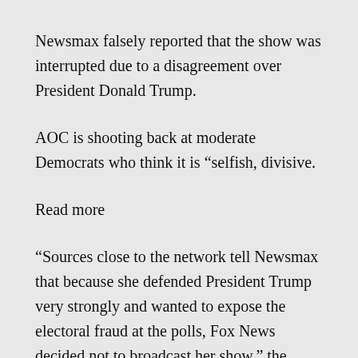Newsmax falsely reported that the show was interrupted due to a disagreement over President Donald Trump.
AOC is shooting back at moderate Democrats who think it is “selfish, divisive.
Read more
“Sources close to the network tell Newsmax that because she defended President Trump very strongly and wanted to expose the electoral fraud at the polls, Fox News decided not to broadcast her show,” the newspaper said. “It had expanded